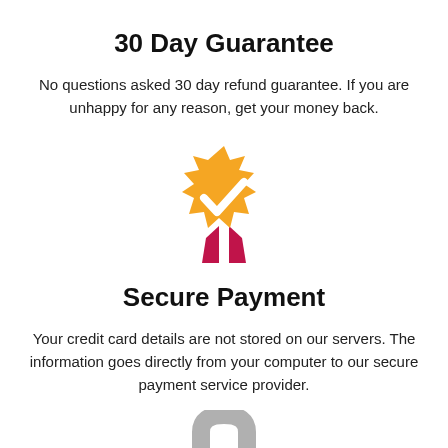30 Day Guarantee
No questions asked 30 day refund guarantee. If you are unhappy for any reason, get your money back.
[Figure (illustration): Gold certification badge with white checkmark and red ribbon tails]
Secure Payment
Your credit card details are not stored on our servers. The information goes directly from your computer to our secure payment service provider.
[Figure (illustration): Grey padlock icon (partially visible, cropped at bottom)]